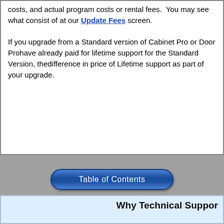costs, and actual program costs or rental fees. You may see what consist of at our Update Fees screen. If you upgrade from a Standard version of Cabinet Pro or Door Pro have already paid for lifetime support for the Standard Version, the difference in price of Lifetime support as part of your upgrade.
[Figure (other): Blue rounded rectangle button labeled 'Table of Contents']
Why Technical Suppor
Old Versions of Cabinet Pro and Door Pro are sim